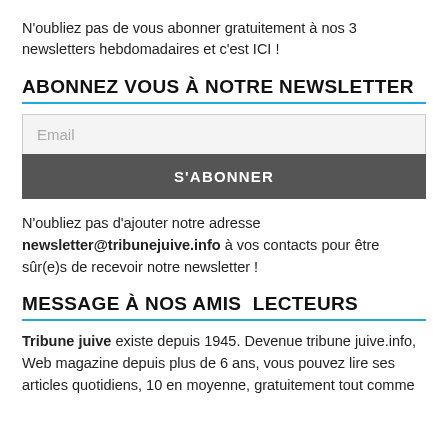N'oubliez pas de vous abonner gratuitement à nos 3 newsletters hebdomadaires et c'est ICI !
ABONNEZ VOUS À NOTRE NEWSLETTER
[Figure (other): Email input field with placeholder 'Email' and a dark grey 'S'ABONNER' subscribe button below it]
N'oubliez pas d'ajouter notre adresse newsletter@tribunejuive.info à vos contacts pour être sûr(e)s de recevoir notre newsletter !
MESSAGE À NOS AMIS  LECTEURS
Tribune juive existe depuis 1945. Devenue tribune juive.info, Web magazine depuis plus de 6 ans, vous pouvez lire ses articles quotidiens, 10 en moyenne, gratuitement tout comme